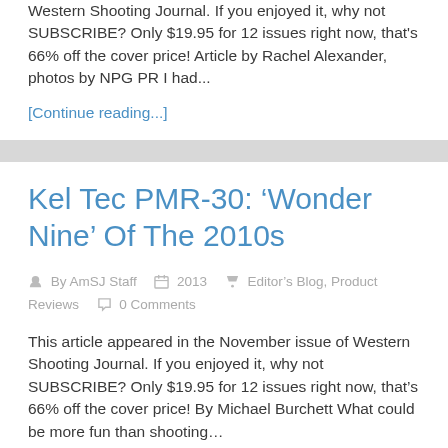Western Shooting Journal. If you enjoyed it, why not SUBSCRIBE? Only $19.95 for 12 issues right now, that's 66% off the cover price! Article by Rachel Alexander, photos by NPG PR I had...
[Continue reading...]
Kel Tec PMR-30: ‘Wonder Nine’ Of The 2010s
By AmSJ Staff  2013  Editor's Blog, Product Reviews  0 Comments
This article appeared in the November issue of Western Shooting Journal. If you enjoyed it, why not SUBSCRIBE? Only $19.95 for 12 issues right now, that's 66% off the cover price! By Michael Burchett What could be more fun than shooting...